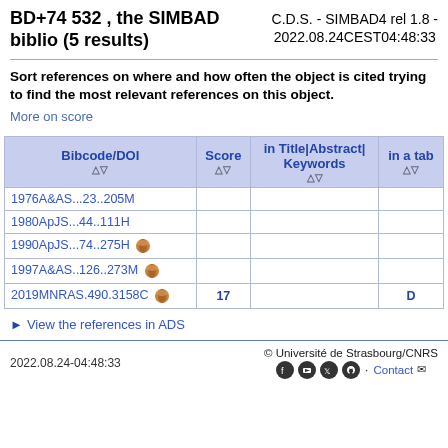BD+74 532 , the SIMBAD biblio (5 results)
C.D.S. - SIMBAD4 rel 1.8 - 2022.08.24CEST04:48:33
Sort references on where and how often the object is cited trying to find the most relevant references on this object. More on score
| Bibcode/DOI | Score | in Title|Abstract|Keywords | in a tabl |
| --- | --- | --- | --- |
| 1976A&AS...23..205M |  |  |  |
| 1980ApJS...44..111H |  |  |  |
| 1990ApJS...74..275H |  |  |  |
| 1997A&AS..126..273M |  |  |  |
| 2019MNRAS.490.3158C | 17 |  | D |
View the references in ADS
2022.08.24-04:48:33   © Université de Strasbourg/CNRS   Contact